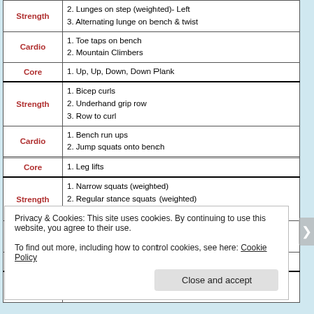| Category | Exercises |
| --- | --- |
| Strength | 2. Lunges on step (weighted)- Left
3. Alternating lunge on bench & twist |
| Cardio | 1. Toe taps on bench
2. Mountain Climbers |
| Core | 1. Up, Up, Down, Down Plank |
| Strength | 1. Bicep curls
2. Underhand grip row
3. Row to curl |
| Cardio | 1. Bench run ups
2. Jump squats onto bench |
| Core | 1. Leg lifts |
| Strength | 1. Narrow squats (weighted)
2. Regular stance squats (weighted)
3. Plié squats (weighted) |
| Cardio | 1. Jumping lunges on bench
2. Bench jacks |
| Core | 1. Weighted in & outs |
| Strength | 1. Deadlifts
2. 1-legged deadlifts- Right |
Privacy & Cookies: This site uses cookies. By continuing to use this website, you agree to their use.
To find out more, including how to control cookies, see here: Cookie Policy